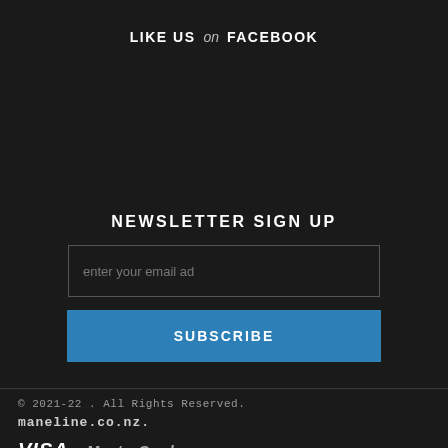LIKE US on FACEBOOK
NEWSLETTER SIGN UP
enter your email ad
SUBSCRIBE
© 2021-22. All Rights Reserved. maneline.co.nz.
[Figure (logo): VISA and MasterCard payment logos]